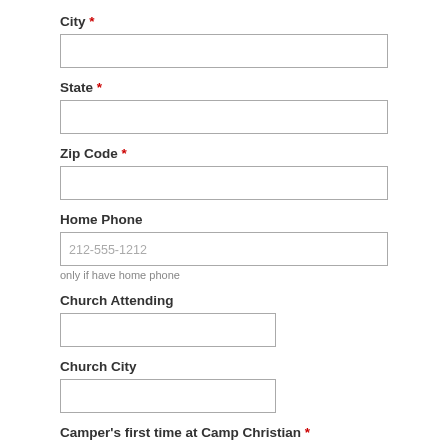City *
State *
Zip Code *
Home Phone
only if have home phone
Church Attending
Church City
Camper's first time at Camp Christian *